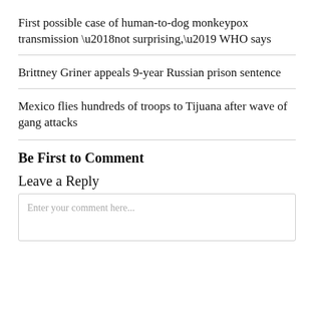First possible case of human-to-dog monkeypox transmission ‘not surprising,’ WHO says
Brittney Griner appeals 9-year Russian prison sentence
Mexico flies hundreds of troops to Tijuana after wave of gang attacks
Be First to Comment
Leave a Reply
Enter your comment here...